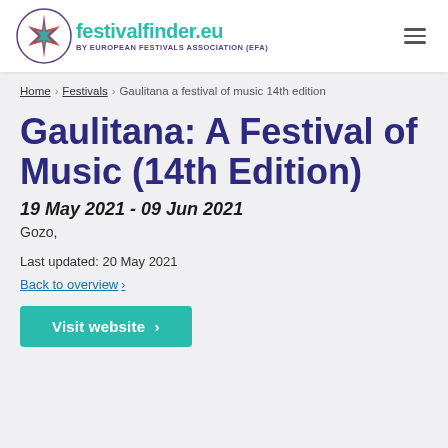festivalfinder.eu BY EUROPEAN FESTIVALS ASSOCIATION (EFA)
Home › Festivals › Gaulitana a festival of music 14th edition
Gaulitana: A Festival of Music (14th Edition)
19 May 2021 - 09 Jun 2021
Gozo,
Last updated: 20 May 2021
Back to overview ›
Visit website ›